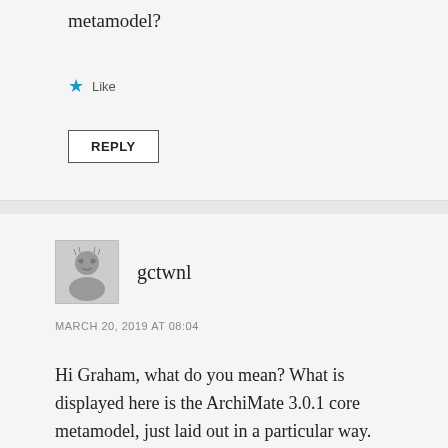metamodel?
Like
REPLY
gctwnl
MARCH 20, 2019 AT 08:04
Hi Graham, what do you mean? What is displayed here is the ArchiMate 3.0.1 core metamodel, just laid out in a particular way.